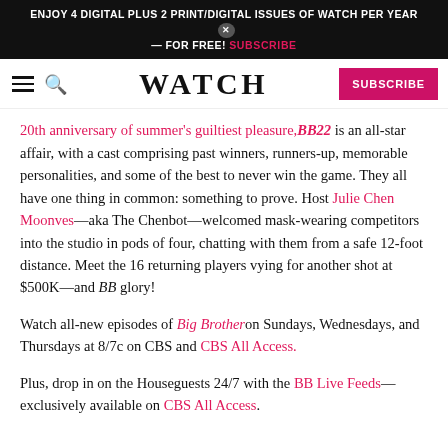ENJOY 4 DIGITAL PLUS 2 PRINT/DIGITAL ISSUES OF WATCH PER YEAR — FOR FREE! SUBSCRIBE
WATCH — SUBSCRIBE
20th anniversary of summer's guiltiest pleasure, BB22 is an all-star affair, with a cast comprising past winners, runners-up, memorable personalities, and some of the best to never win the game. They all have one thing in common: something to prove. Host Julie Chen Moonves—aka The Chenbot—welcomed mask-wearing competitors into the studio in pods of four, chatting with them from a safe 12-foot distance. Meet the 16 returning players vying for another shot at $500K—and BB glory!
Watch all-new episodes of Big Brother on Sundays, Wednesdays, and Thursdays at 8/7c on CBS and CBS All Access.
Plus, drop in on the Houseguests 24/7 with the BB Live Feeds—exclusively available on CBS All Access.